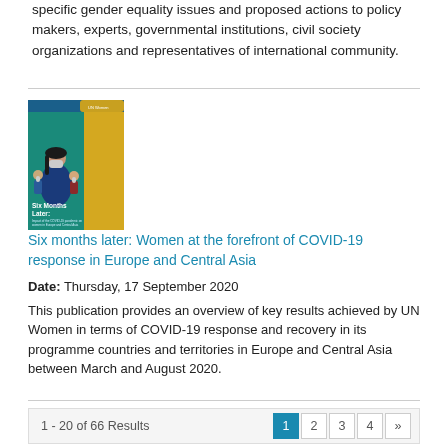specific gender equality issues and proposed actions to policy makers, experts, governmental institutions, civil society organizations and representatives of international community.
[Figure (illustration): Book cover showing 'Six Months Later: Women at the forefront of COVID-19 response in Europe and Central Asia' with illustrated women figures wearing masks on a teal/blue background.]
Six months later: Women at the forefront of COVID-19 response in Europe and Central Asia
Date: Thursday, 17 September 2020
This publication provides an overview of key results achieved by UN Women in terms of COVID-19 response and recovery in its programme countries and territories in Europe and Central Asia between March and August 2020.
1 - 20 of 66 Results